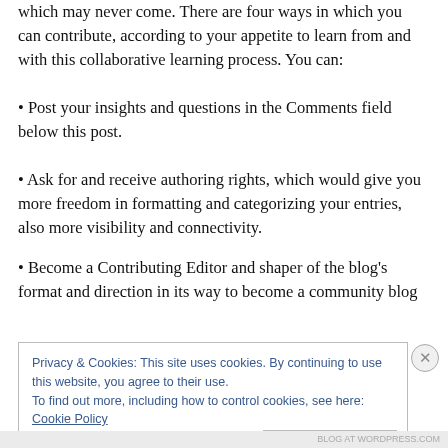which may never come. There are four ways in which you can contribute, according to your appetite to learn from and with this collaborative learning process. You can:
• Post your insights and questions in the Comments field below this post.
• Ask for and receive authoring rights, which would give you more freedom in formatting and categorizing your entries, also more visibility and connectivity.
• Become a Contributing Editor and shaper of the blog's format and direction in its way to become a community blog
Privacy & Cookies: This site uses cookies. By continuing to use this website, you agree to their use. To find out more, including how to control cookies, see here: Cookie Policy
Close and accept
BLOG AT WORDPRESS.COM